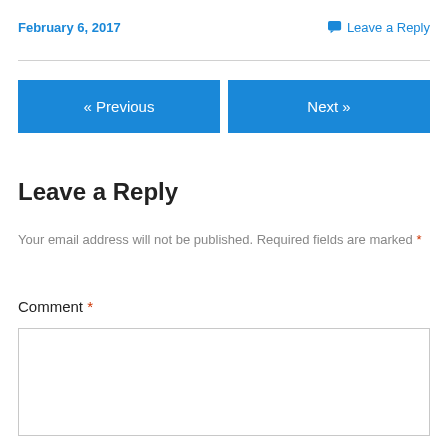February 6, 2017
Leave a Reply
Leave a Reply
Your email address will not be published. Required fields are marked *
Comment *